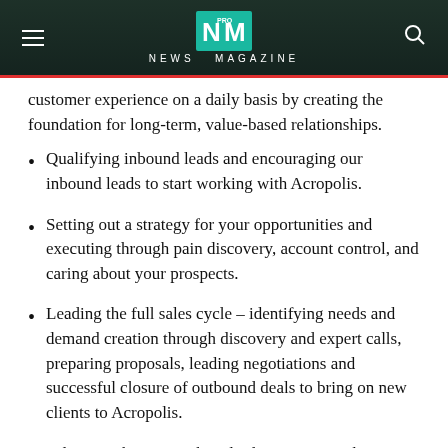NEWS MAGAZINE
customer experience on a daily basis by creating the foundation for long-term, value-based relationships.
Qualifying inbound leads and encouraging our inbound leads to start working with Acropolis.
Setting out a strategy for your opportunities and executing through pain discovery, account control, and caring about your prospects.
Leading the full sales cycle – identifying needs and demand creation through discovery and expert calls, preparing proposals, leading negotiations and successful closure of outbound deals to bring on new clients to Acropolis.
Adjusting the approach and sales process to the client's needs in order to maximize the chances to close the